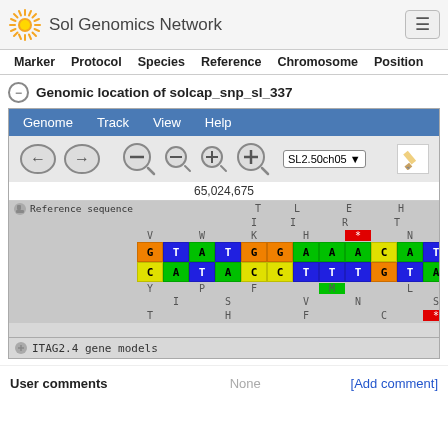Sol Genomics Network
Marker   Protocol   Species   Reference   Chromosome   Position
Genomic location of solcap_snp_sl_337
[Figure (screenshot): Genome browser screenshot showing the Sol Genomics Network JBrowse interface with reference sequence display at position 65,024,675 on SL2.50ch05, showing nucleotide sequence colored cells (G, T, A, T, G, G, A, A, A, C, A, T, T, A, G, A, A, C, A, C for top strand; C, A, T, A, C, C, T, T, T, G, T, A, A, T, C, T, T, G, T, G for bottom strand) and amino acid translations, with ITAG2.4 gene models track below. Navigation toolbar shows Genome, Track, View, Help menus and zoom controls.]
User comments   None   [Add comment]